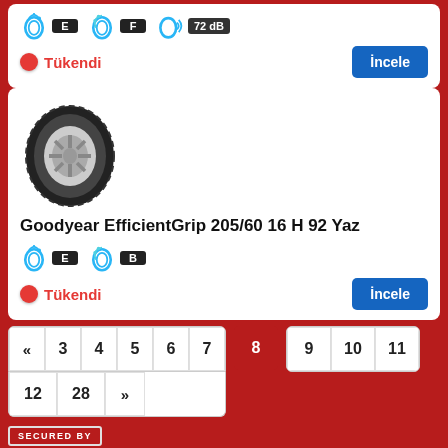[Figure (infographic): Tire rating icons: fuel efficiency E (black badge), wet grip F (black badge), noise 72 dB (black badge)]
Tükendi
İncele
[Figure (photo): Goodyear EfficientGrip tire product photo]
Goodyear EfficientGrip 205/60 16 H 92 Yaz
[Figure (infographic): Tire rating icons: fuel efficiency E (black badge), wet grip B (black badge)]
Tükendi
İncele
« 3 4 5 6 7 8 9 10 11 12 28 »
[Figure (logo): SECURED BY badge]